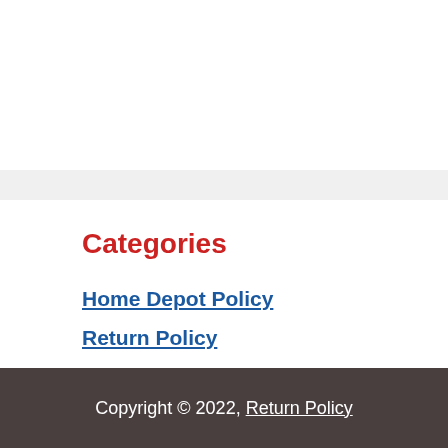Categories
Home Depot Policy
Return Policy
Target Return Policy
Walmart Return Policy
Copyright © 2022, Return Policy